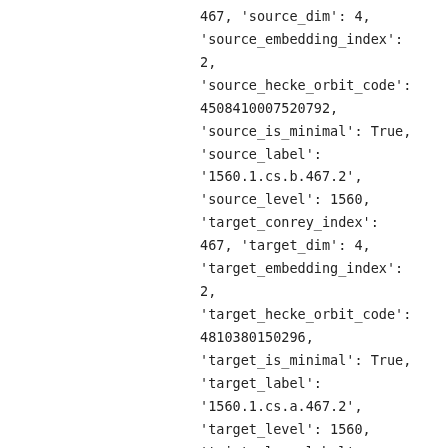467, 'source_dim': 4, 'source_embedding_index': 2, 'source_hecke_orbit_code': 4508410007520792, 'source_is_minimal': True, 'source_label': '1560.1.cs.b.467.2', 'source_level': 1560, 'target_conrey_index': 467, 'target_dim': 4, 'target_embedding_index': 2, 'target_hecke_orbit_code': 4810380150296, 'target_is_minimal': True, 'target_label': '1560.1.cs.a.467.2', 'target_level': 1560, 'twist_class_label':